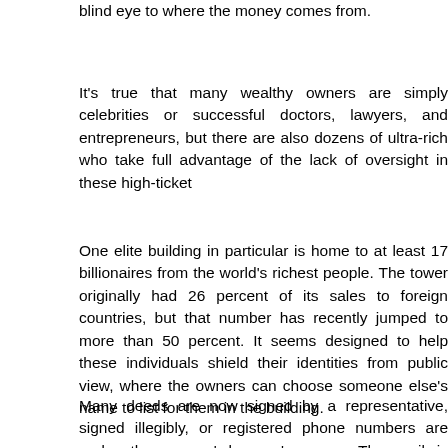blind eye to where the money comes from.
It's true that many wealthy owners are simply celebrities or successful doctors, lawyers, and entrepreneurs, but there are also dozens of ultra-rich who take full advantage of the lack of oversight in these high-ticket
One elite building in particular is home to at least 17 billionaires from the world's richest people. The tower originally had 26 percent of its sales to foreign countries, but that number has recently jumped to more than 50 percent. It seems designed to help these individuals shield their identities from public view, where the owners can choose someone else's name to list for them in the building.
Many deeds are now signed by a representative, signed illegibly, or registered phone numbers are under the owners' lawyers' names. The mail is addressed to their companies rather than to themselves. Even the tax records keep names out f it – because these deals are done in cash, there's no mortgage or other public document to identify the true owner.
Privacy has become so important in these types of deals that high-e